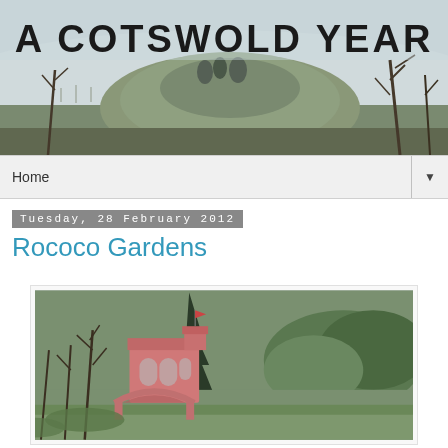[Figure (photo): Blog header banner showing a misty Cotswolds landscape with a rounded hill, bare trees, and foggy background. Blog title 'A Cotswold Year' overlaid in large uppercase hand-drawn style font.]
Home
Tuesday, 28 February 2012
Rococo Gardens
[Figure (photo): Photograph of a pink Gothic-style pavilion or folly with arched windows and a small bridge in front, surrounded by bare winter trees and green shrubs at Rococo Garden.]